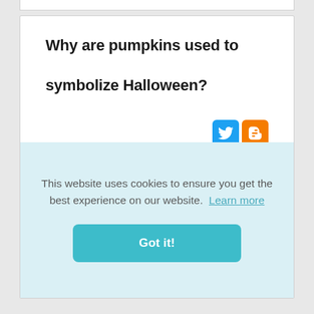Why are pumpkins used to symbolize Halloween?
[Figure (logo): Twitter and Blogger social share icons]
Why Carved Pumpkins are a Symbol of Halloween. The tradition of carving faces into vegetables dates to the Celts. As part of their autumnal celebration, they wanted to
This website uses cookies to ensure you get the best experience on our website.  Learn more
Got it!